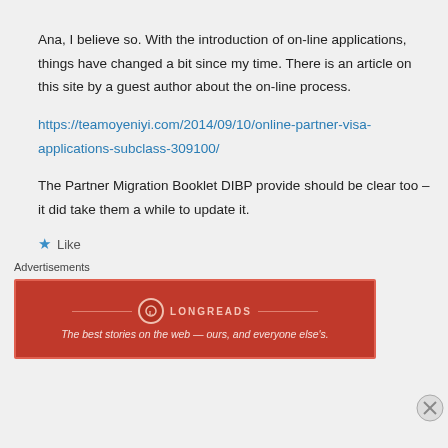Ana, I believe so. With the introduction of on-line applications, things have changed a bit since my time. There is an article on this site by a guest author about the on-line process.
https://teamoyeniyi.com/2014/09/10/online-partner-visa-applications-subclass-309100/
The Partner Migration Booklet DIBP provide should be clear too – it did take them a while to update it.
Like
Advertisements
[Figure (other): Longreads advertisement banner in red: 'The best stories on the web — ours, and everyone else's.']